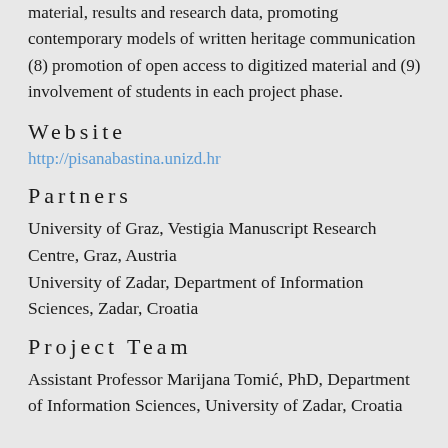material, results and research data, promoting contemporary models of written heritage communication (8) promotion of open access to digitized material and (9) involvement of students in each project phase.
Website
http://pisanabastina.unizd.hr
Partners
University of Graz, Vestigia Manuscript Research Centre, Graz, Austria
University of Zadar, Department of Information Sciences, Zadar, Croatia
Project Team
Assistant Professor Marijana Tomić, PhD, Department of Information Sciences, University of Zadar, Croatia